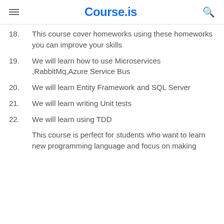Course.is
18. This course cover homeworks using these homeworks you can improve your skills
19. We will learn how to use Microservices ,RabbitMq,Azure Service Bus
20. We will learn Entity Framework and SQL Server
21. We will learn writing Unit tests
22. We will learn using TDD
This course is perfect for students who want to learn new programming language and focus on making